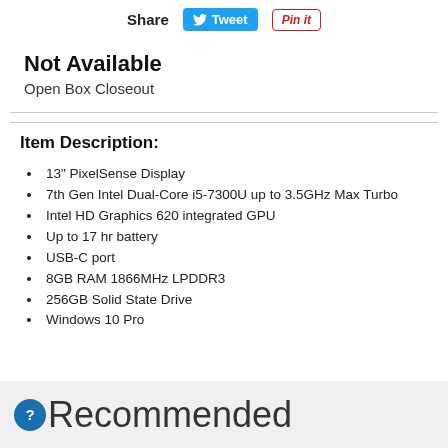[Figure (other): Share, Tweet, and Pin it social sharing buttons at the top of the page]
Not Available
Open Box Closeout
Item Description:
13" PixelSense Display
7th Gen Intel Dual-Core i5-7300U up to 3.5GHz Max Turbo
Intel HD Graphics 620 integrated GPU
Up to 17 hr battery
USB-C port
8GB RAM 1866MHz LPDDR3
256GB Solid State Drive
Windows 10 Pro
Recommended